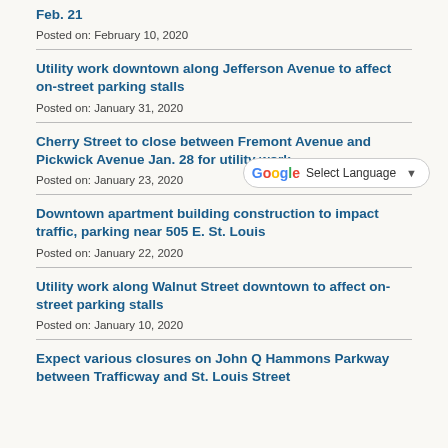Feb. 21
Posted on: February 10, 2020
Utility work downtown along Jefferson Avenue to affect on-street parking stalls
Posted on: January 31, 2020
Cherry Street to close between Fremont Avenue and Pickwick Avenue Jan. 28 for utility work
Posted on: January 23, 2020
Downtown apartment building construction to impact traffic, parking near 505 E. St. Louis
Posted on: January 22, 2020
Utility work along Walnut Street downtown to affect on-street parking stalls
Posted on: January 10, 2020
Expect various closures on John Q Hammons Parkway between Trafficway and St. Louis Street